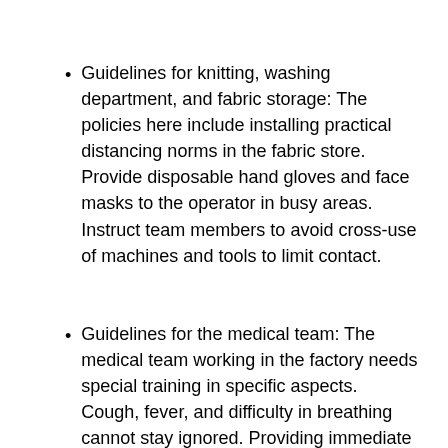Guidelines for knitting, washing department, and fabric storage: The policies here include installing practical distancing norms in the fabric store. Provide disposable hand gloves and face masks to the operator in busy areas. Instruct team members to avoid cross-use of machines and tools to limit contact.
Guidelines for the medical team: The medical team working in the factory needs special training in specific aspects. Cough, fever, and difficulty in breathing cannot stay ignored. Providing immediate medical attention through a nearby Medical